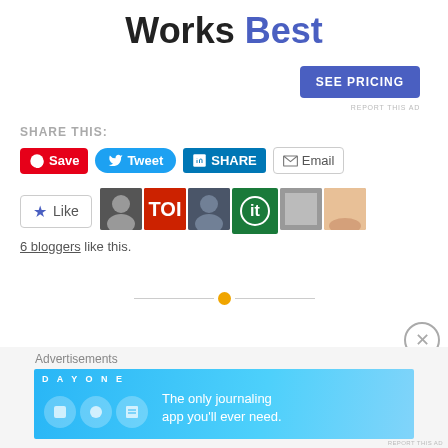Works Best
[Figure (screenshot): SEE PRICING button (blue rounded rectangle)]
REPORT THIS AD
SHARE THIS:
[Figure (screenshot): Social share buttons: Save (Pinterest), Tweet (Twitter), SHARE (LinkedIn), Email]
[Figure (screenshot): Like button with star icon and 6 blogger avatar thumbnails]
6 bloggers like this.
[Figure (other): Horizontal divider line with orange circle dot in center]
[Figure (screenshot): Close/X circle button]
Advertisements
[Figure (screenshot): Day One journaling app advertisement banner: The only journaling app you'll ever need.]